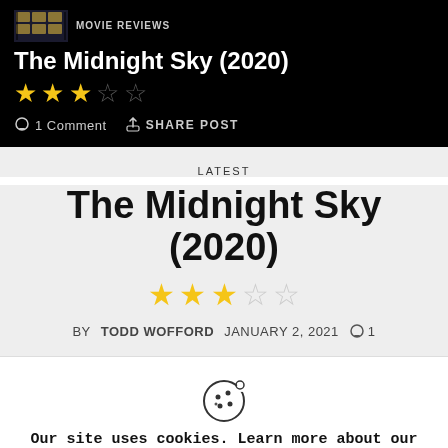Todd Wofford's Movie Reviews
The Midnight Sky (2020)
★★★☆☆
1 Comment  SHARE POST
LATEST
The Midnight Sky (2020)
★★★☆☆
BY TODD WOFFORD  JANUARY 2, 2021  ⌂1
[Figure (illustration): Cookie icon — a cookie with a bite taken out]
Our site uses cookies. Learn more about our use of cookies: cookie policy
ACCEPT  REJECT